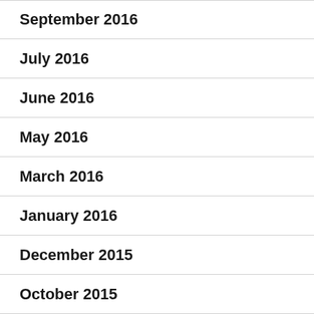September 2016
July 2016
June 2016
May 2016
March 2016
January 2016
December 2015
October 2015